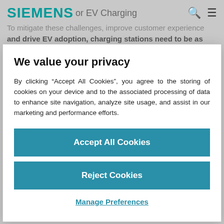SIEMENS for EV Charging
To mitigate these challenges, improve customer experience and drive EV adoption, charging stations need to be as
We value your privacy
By clicking “Accept All Cookies”, you agree to the storing of cookies on your device and to the associated processing of data to enhance site navigation, analyze site usage, and assist in our marketing and performance efforts.
Accept All Cookies
Reject Cookies
Manage Preferences